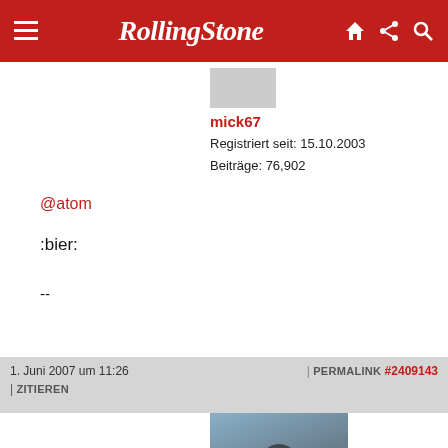Rolling Stone
mick67
Registriert seit: 15.10.2003
Beiträge: 76,902
@atom
:bier:
--
1. Juni 2007 um 11:26 | PERMALINK #2409143 | ZITIEREN
atom
Moderator